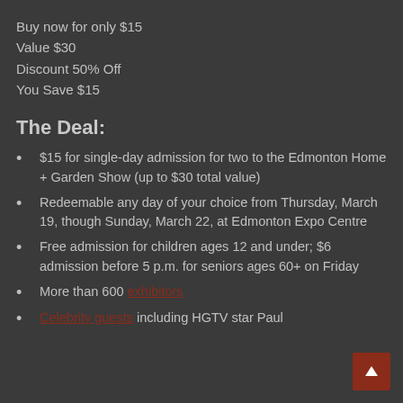Buy now for only $15
Value $30
Discount 50% Off
You Save $15
The Deal:
$15 for single-day admission for two to the Edmonton Home + Garden Show (up to $30 total value)
Redeemable any day of your choice from Thursday, March 19, though Sunday, March 22, at Edmonton Expo Centre
Free admission for children ages 12 and under; $6 admission before 5 p.m. for seniors ages 60+ on Friday
More than 600 exhibitors
Celebrity guests including HGTV star Paul